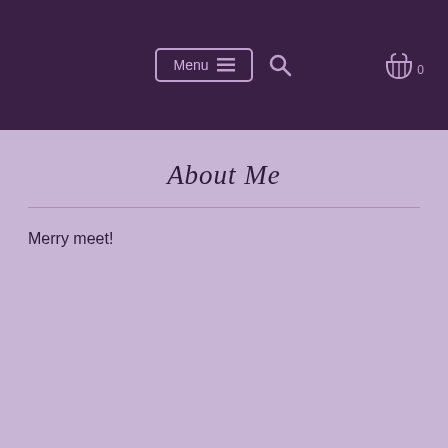Menu ☰  🔍  🛒 0
About Me
Merry meet!